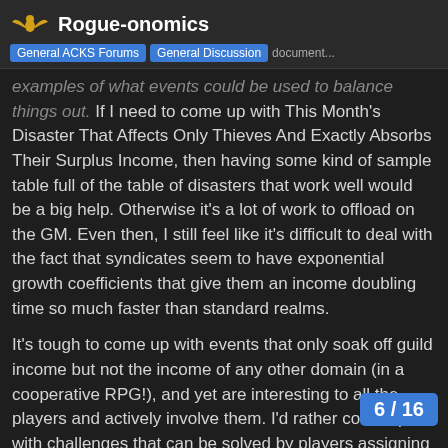Rogue-onomics | General ACKS Forums | General Discussion document...
examples of what events could be used to balance things out. If I need to come up with This Month's Disaster That Affects Only Thieves And Exactly Absorbs Their Surplus Income, then having some kind of sample table full of the table of disasters that work well would be a big help. Otherwise it's a lot of work to offload on the GM. Even then, I still feel like it's difficult to deal with the fact that syndicates seem to have exponential growth coefficients that give them an income doubling time so much faster than standard realms.
It's tough to come up with events that only soak off guild income but not the income of any other domain (in a cooperative RPG!), and yet are interesting to all the players and actively involve them. I'd rather come up with challenges that can be solved by players assigning their resources freely with lots of autonomous agency, not challenges designed expressly around the need to fix issues being caused by the economic system itself. It's one thing to say “Ah, maybe I should run some kind of crackdown event on my thief, to keep him paranoid”, and another to have this be a mandatory and constant re...
6 / 16